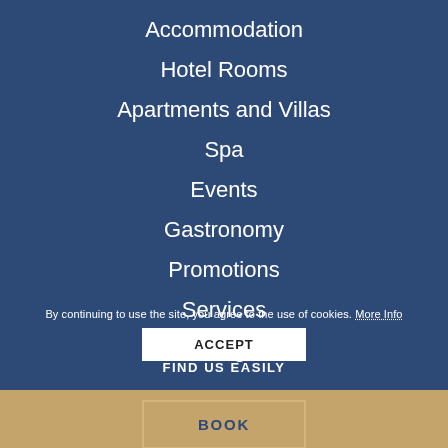Accommodation
Hotel Rooms
Apartments and Villas
Spa
Events
Gastronomy
Promotions
Services
Blog
By continuing to use the site, you agree to the use of cookies. More Info
ACCEPT
FIND US EASILY
BOOK